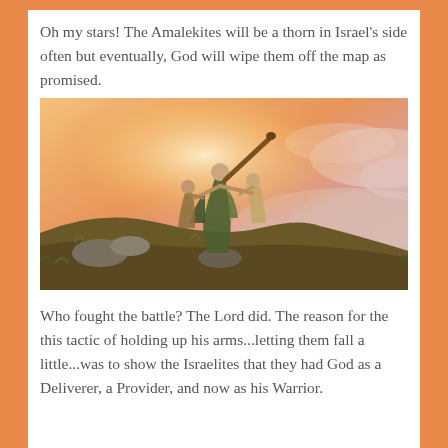Oh my stars!  The Amalekites will be a thorn in Israel's side often but eventually, God will wipe them off the map as promised.
[Figure (illustration): Religious painting depicting figures on a hillside at sunset. A central figure in robes holds a staff raised above his head, supported by two others on either side, with a dramatic orange and pink sky and a valley in the background.]
Who fought the battle?  The Lord did.  The reason for the this tactic of holding up his arms...letting them fall a little...was to show the Israelites that they had God as a Deliverer, a Provider, and now as his Warrior.